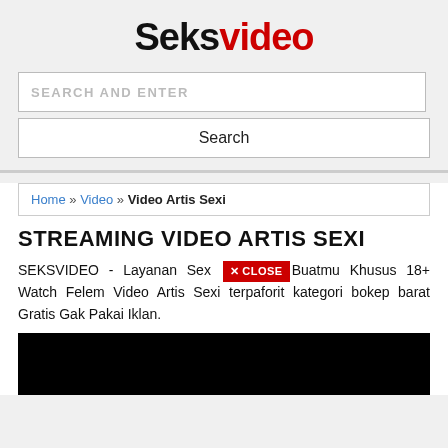Seksvideo
SEARCH AND ENTER
Search
Home » Video » Video Artis Sexi
STREAMING VIDEO ARTIS SEXI
SEKSVIDEO - Layanan Sex [X CLOSE] Buatmu Khusus 18+ Watch Felem Video Artis Sexi terpaforit kategori bokep barat Gratis Gak Pakai Iklan.
[Figure (other): Black video player area]